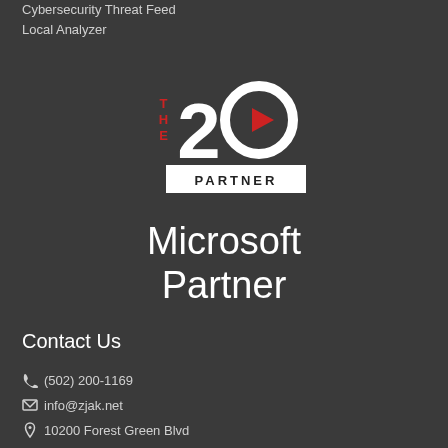Cybersecurity Threat Feed
Local Analyzer
[Figure (logo): The 20 Partner logo — large white '20' with a red circle arrow, red vertical 'THE' text on the left, and a white rectangle banner below with 'PARTNER' in black bold letters]
Microsoft Partner
Contact Us
(502) 200-1169
info@zjak.net
10200 Forest Green Blvd